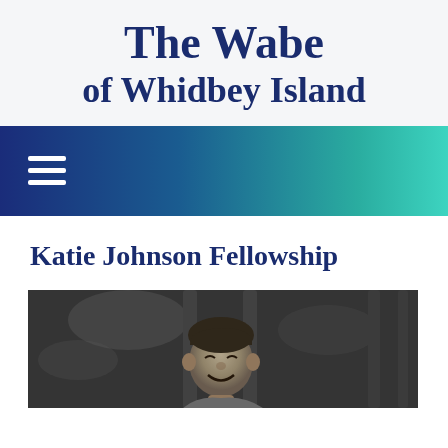The Wabe of Whidbey Island
[Figure (other): Navigation bar with hamburger menu icon and blue-to-teal gradient background]
Katie Johnson Fellowship
[Figure (photo): Black and white photograph of a young child smiling on playground equipment]